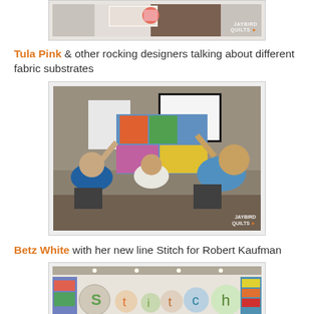[Figure (photo): Top of a photo showing a booth with Jaybird Quilts watermark, partially cropped at top of page]
Tula Pink & other rocking designers talking about different fabric substrates
[Figure (photo): Photo of people in a conference room/class setting holding up colorful quilts, with a projection screen in the background. Jaybird Quilts watermark visible.]
Betz White with her new line Stitch for Robert Kaufman
[Figure (photo): Photo of a trade show booth display for 'Stitch' fabric line by Robert Kaufman, partially cropped at bottom of page]